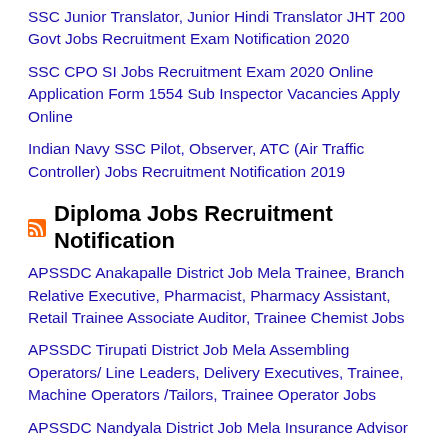SSC Junior Translator, Junior Hindi Translator JHT 200 Govt Jobs Recruitment Exam Notification 2020
SSC CPO SI Jobs Recruitment Exam 2020 Online Application Form 1554 Sub Inspector Vacancies Apply Online
Indian Navy SSC Pilot, Observer, ATC (Air Traffic Controller) Jobs Recruitment Notification 2019
Diploma Jobs Recruitment Notification
APSSDC Anakapalle District Job Mela Trainee, Branch Relative Executive, Pharmacist, Pharmacy Assistant, Retail Trainee Associate Auditor, Trainee Chemist Jobs
APSSDC Tirupati District Job Mela Assembling Operators/ Line Leaders, Delivery Executives, Trainee, Machine Operators /Tailors, Trainee Operator Jobs
APSSDC Nandyala District Job Mela Insurance Advisor